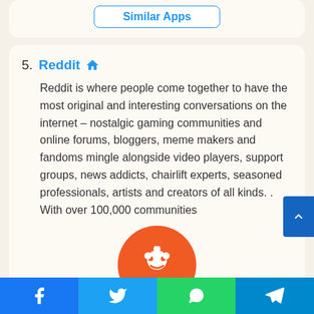Similar Apps
5. Reddit 🏠
Reddit is where people come together to have the most original and interesting conversations on the internet – nostalgic gaming communities and online forums, bloggers, meme makers and fandoms mingle alongside video players, support groups, news addicts, chairlift experts, seasoned professionals, artists and creators of all kinds. . With over 100,000 communities
[Figure (logo): Reddit orange circle logo with white mascot icon]